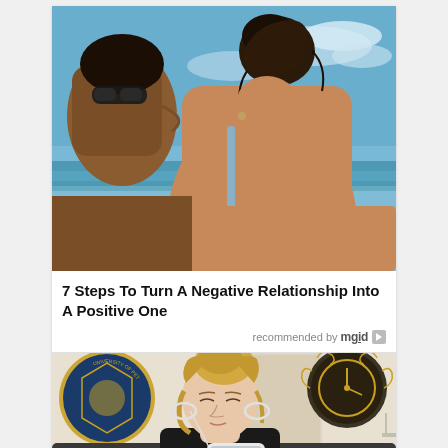[Figure (photo): Two people kissing from behind, woman with dark hair in a bun wearing a blue strap top, ocean and blue sky in background]
7 Steps To Turn A Negative Relationship Into A Positive One
recommended by mgid
[Figure (photo): Young blonde woman with hair up, wearing earrings and black tank top, looking down at phone with earbuds, sitting on dark couch, decorative clock on wall behind her, university seal visible on left]